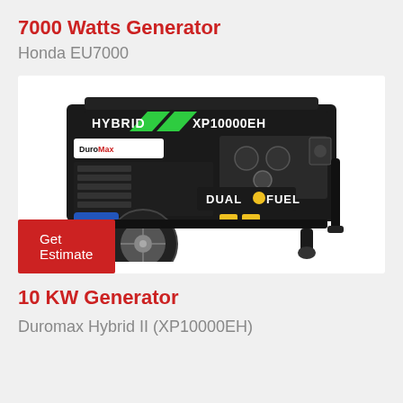7000 Watts Generator
Honda EU7000
[Figure (photo): Photo of a DuroMax Hybrid II XP10000EH dual fuel generator on wheels, black frame with green accent stripe, control panel visible]
Get Estimate
10 KW Generator
Duromax Hybrid II (XP10000EH)